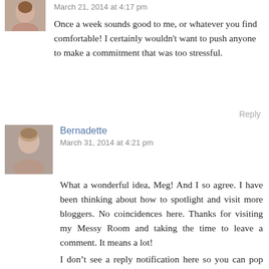March 21, 2014 at 4:17 pm
Once a week sounds good to me, or whatever you find comfortable! I certainly wouldn't want to push anyone to make a commitment that was too stressful.
Reply
Bernadette
March 31, 2014 at 4:21 pm
What a wonderful idea, Meg! And I so agree. I have been thinking about how to spotlight and visit more bloggers. No coincidences here. Thanks for visiting my Messy Room and taking the time to leave a comment. It means a lot!
Just finished reading your “Forgiveness and Owning Stories” post and would love to share it on my Forgive it Forward Project wall on FB. Please let me know if that would be all right. If not, I will understand! All the best to you. I’ll be back!
I don’t see a reply notification here so you can pop back